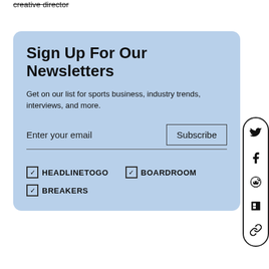creative director
Sign Up For Our Newsletters
Get on our list for sports business, industry trends, interviews, and more.
Enter your email
Subscribe
☑ HEADLINETOGO
☑ BOARDROOM
☑ BREAKERS
[Figure (infographic): Social media sharing sidebar with Twitter, Facebook, Reddit, Flipboard, and link icons in a vertical pill-shaped container]